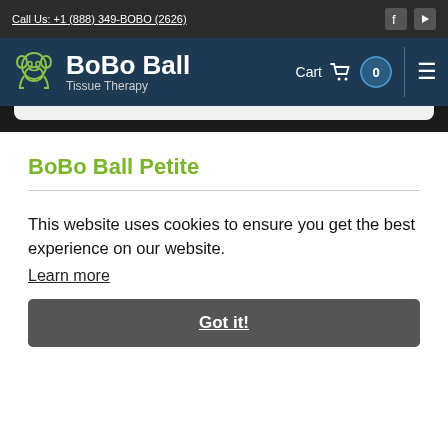Call Us: +1 (888) 349-BOBO (2626)
[Figure (logo): BoBo Ball Tissue Therapy logo with gorilla icon in lime green]
BoBo Ball Tissue Therapy — Cart 0
BoBo Ball Petite
$ 85.00 USD
3  colors available
This website uses cookies to ensure you get the best experience on our website. Learn more
Got it!